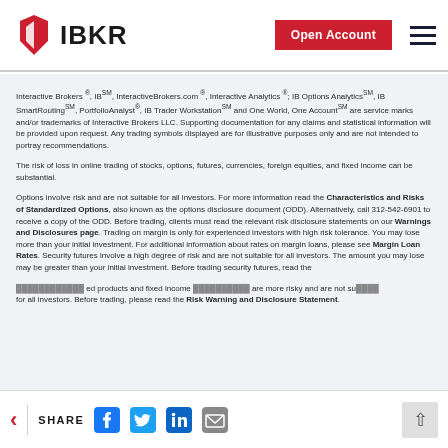IBKR — Open Account
Interactive Brokers ®, IB℠, InteractiveBrokers.com ®, Interactive Analytics ®; IB Options Analytics℠, IB SmartRouting℠, PortfolioAnalyst ®, IB Trader Workstation℠ and One World, One Account℠ are service marks and/or trademarks of Interactive Brokers LLC. Supporting documentation for any claims and statistical information will be provided upon request. Any trading symbols displayed are for illustrative purposes only and are not intended to portray recommendations.
The risk of loss in online trading of stocks, options, futures, currencies, foreign equities, and fixed income can be substantial.
Options involve risk and are not suitable for all investors. For more information read the Characteristics and Risks of Standardized Options, also known as the options disclosure document (ODD). Alternatively, call 312-542-6901 to receive a copy of the ODD. Before trading, clients must read the relevant risk disclosure statements on our Warnings and Disclosures page. Trading on margin is only for experienced investors with high risk tolerance. You may lose more than your initial investment. For additional information about rates on margin loans, please see Margin Loan Rates. Security futures involve a high degree of risk and are not suitable for all investors. The amount you may lose may be greater than your initial investment. Before trading security futures, read the [text continues]... ed products and fixed income... are more risky and are not su... for all investors. Before trading, please read the Risk Warning and Disclosure Statement.
SHARE